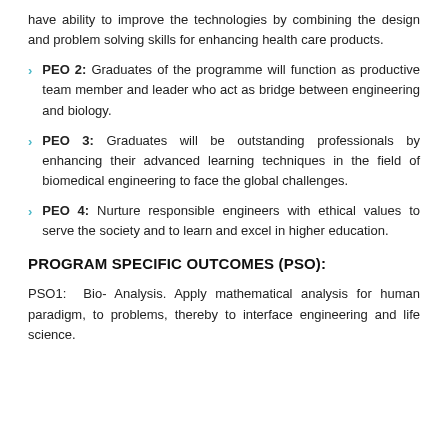have ability to improve the technologies by combining the design and problem solving skills for enhancing health care products.
PEO 2: Graduates of the programme will function as productive team member and leader who act as bridge between engineering and biology.
PEO 3: Graduates will be outstanding professionals by enhancing their advanced learning techniques in the field of biomedical engineering to face the global challenges.
PEO 4: Nurture responsible engineers with ethical values to serve the society and to learn and excel in higher education.
PROGRAM SPECIFIC OUTCOMES (PSO):
PSO1: Bio- Analysis. Apply mathematical analysis for human paradigm, to problems, thereby to interface engineering and life science.